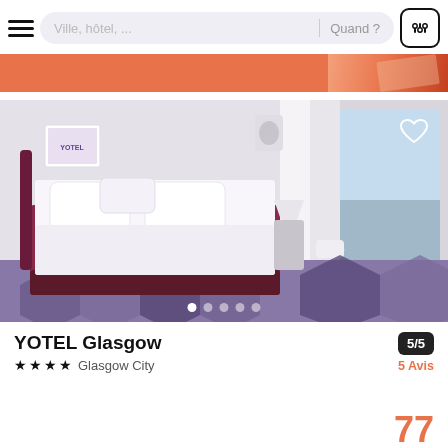Ville, hôtel, ...  Quand ?
[Figure (screenshot): Orange promotional banner strip at the top of the page]
[Figure (photo): YOTEL Glasgow hotel room photo showing a double bed with white linens on a burgundy/maroon base, purple geometric patterned carpet, white walls, bathroom visible through glass partition, city view through window. Carousel dots shown at bottom, heart/favorite icon top right.]
YOTEL Glasgow
★★★★ Glasgow City
5/5
5 Avis